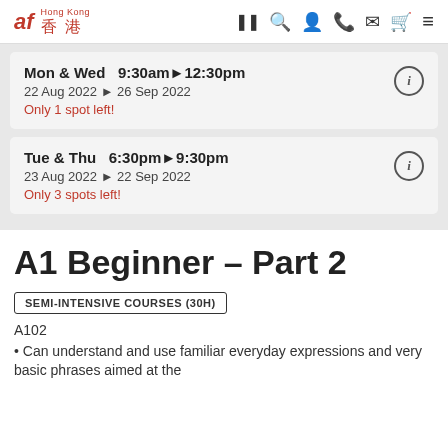af Hong Kong 香港
Mon & Wed  9:30am▶12:30pm
22 Aug 2022 ▶ 26 Sep 2022
Only 1 spot left!
Tue & Thu  6:30pm▶9:30pm
23 Aug 2022 ▶ 22 Sep 2022
Only 3 spots left!
A1 Beginner – Part 2
SEMI-INTENSIVE COURSES (30H)
A102
• Can understand and use familiar everyday expressions and very basic phrases aimed at the